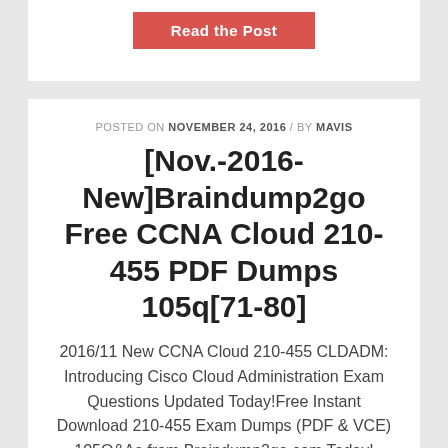[Figure (other): Red 'Read the Post' button on white card background]
POSTED ON NOVEMBER 24, 2016 / BY MAVIS
[Nov.-2016-New]Braindump2go Free CCNA Cloud 210-455 PDF Dumps 105q[71-80]
2016/11 New CCNA Cloud 210-455 CLDADM: Introducing Cisco Cloud Administration Exam Questions Updated Today!Free Instant Download 210-455 Exam Dumps (PDF & VCE) 105Q&As from Braindump2go.com Today!